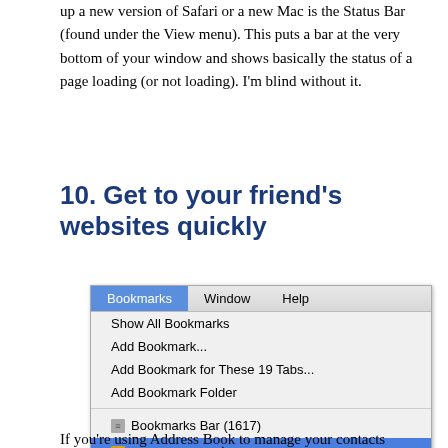up a new version of Safari or a new Mac is the Status Bar (found under the View menu). This puts a bar at the very bottom of your window and shows basically the status of a page loading (or not loading). I'm blind without it.
10. Get to your friend's websites quickly
[Figure (screenshot): Safari browser Bookmarks menu showing: Show All Bookmarks, Add Bookmark..., Add Bookmark for These 19 Tabs..., Add Bookmark Folder, Bookmarks Bar (1617), and Address Book (highlighted in blue) with a cursor pointing at it.]
If you're using Address Book to manage your contacts